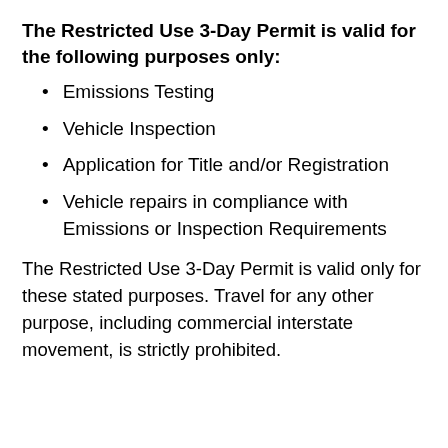The Restricted Use 3-Day Permit is valid for the following purposes only:
Emissions Testing
Vehicle Inspection
Application for Title and/or Registration
Vehicle repairs in compliance with Emissions or Inspection Requirements
The Restricted Use 3-Day Permit is valid only for these stated purposes. Travel for any other purpose, including commercial interstate movement, is strictly prohibited.